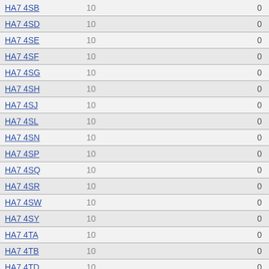| Postcode | Count | Value |
| --- | --- | --- |
| HA7 4SB | 10 | 0 |
| HA7 4SD | 10 | 0 |
| HA7 4SE | 10 | 0 |
| HA7 4SF | 10 | 0 |
| HA7 4SG | 10 | 0 |
| HA7 4SH | 10 | 0 |
| HA7 4SJ | 10 | 0 |
| HA7 4SL | 10 | 0 |
| HA7 4SN | 10 | 0 |
| HA7 4SP | 10 | 0 |
| HA7 4SQ | 10 | 0 |
| HA7 4SR | 10 | 0 |
| HA7 4SW | 10 | 0 |
| HA7 4SY | 10 | 0 |
| HA7 4TA | 10 | 0 |
| HA7 4TB | 10 | 0 |
| HA7 4TD | 10 | 0 |